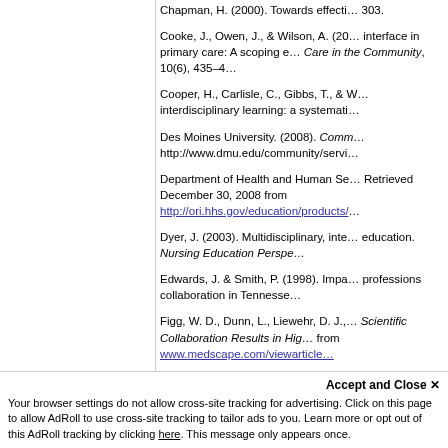Chapman, H. (2000). Towards effecti... 303.
Cooke, J., Owen, J., & Wilson, A. (20... interface in primary care: A scoping e... Care in the Community, 10(6), 435–4...
Cooper, H., Carlisle, C., Gibbs, T., & W... interdisciplinary learning: a systemati...
Des Moines University. (2008). Comm... http://www.dmu.edu/community/servi...
Department of Health and Human Se... Retrieved December 30, 2008 from http://ori.hhs.gov/education/products/...
Dyer, J. (2003). Multidisciplinary, inte... education. Nursing Education Perspe...
Edwards, J. & Smith, P. (1998). Impa... professions collaboration in Tennesse...
Figg, W. D., Dunn, L., Liewehr, D. J.,... Scientific Collaboration Results in Hig... from www.medscape.com/viewarticle...
Your browser settings do not allow cross-site tracking for advertising. Click on this page to allow AdRoll to use cross-site tracking to tailor ads to you. Learn more or opt out of this AdRoll tracking by clicking here. This message only appears once.